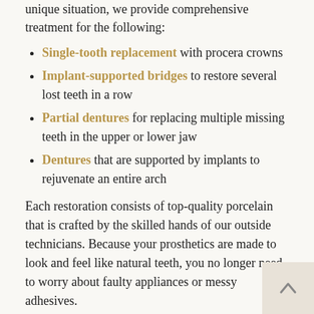unique situation, we provide comprehensive treatment for the following:
Single-tooth replacement with procera crowns
Implant-supported bridges to restore several lost teeth in a row
Partial dentures for replacing multiple missing teeth in the upper or lower jaw
Dentures that are supported by implants to rejuvenate an entire arch
Each restoration consists of top-quality porcelain that is crafted by the skilled hands of our outside technicians. Because your prosthetics are made to look and feel like natural teeth, you no longer need to worry about faulty appliances or messy adhesives.
Let Us Bring New Life to Your Smile
Our team at Atwill-Conroy Dental Providence understands the impact your smile can have on your health, everyday